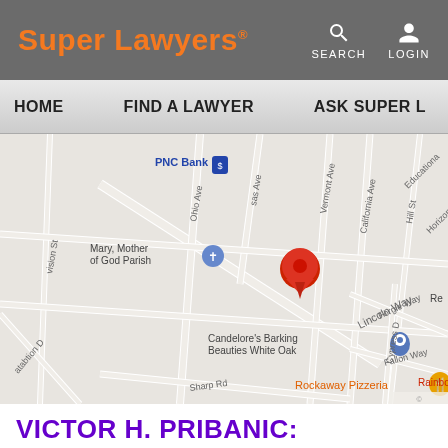Super Lawyers — SEARCH LOGIN
HOME   FIND A LAWYER   ASK SUPER L
[Figure (map): Google Maps view showing a location pin on Lincoln Way near PNC Bank, Mary Mother of God Parish, Candelore's Barking Beauties White Oak, Rockaway Pizzeria, Forgie Way, Fallon Way, Vermont Ave, California Ave, Hill St, Sharp Rd, Cypress Dr, Educational, Horizon, Rainbow W]
VICTOR H. PRIBANIC: